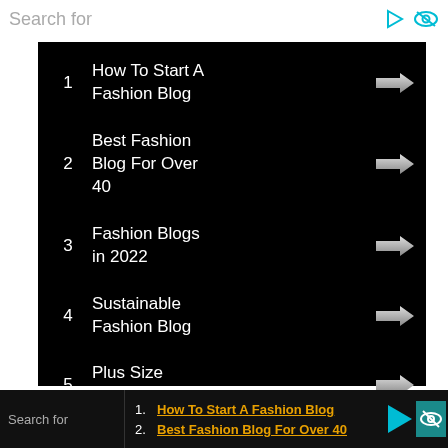Search for
1. How To Start A Fashion Blog
2. Best Fashion Blog For Over 40
3. Fashion Blogs in 2022
4. Sustainable Fashion Blog
5. Plus Size Fashion Blog
Search for
1. How To Start A Fashion Blog
2. Best Fashion Blog For Over 40